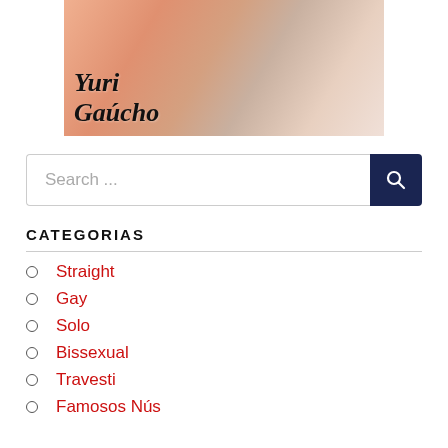[Figure (photo): Promotional image with text 'Yuri Gaúcho' in cursive over a pink/skin-toned background]
Search ...
CATEGORIAS
Straight
Gay
Solo
Bissexual
Travesti
Famosos Nús